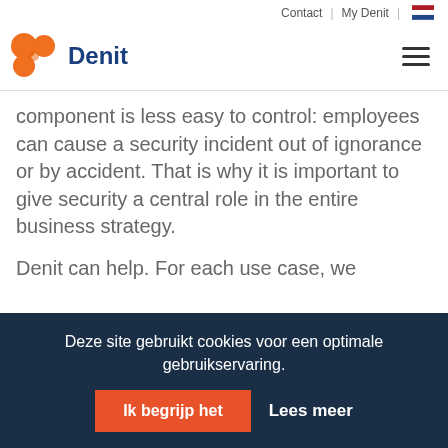Contact | My Denit
[Figure (logo): Denit logo with orange circles and blue text]
component is less easy to control: employees can cause a security incident out of ignorance or by accident. That is why it is important to give security a central role in the entire business strategy.
Denit can help. For each use case, we
Deze site gebruikt cookies voor een optimale gebruikservaring.
Ik begrijp het  Lees meer